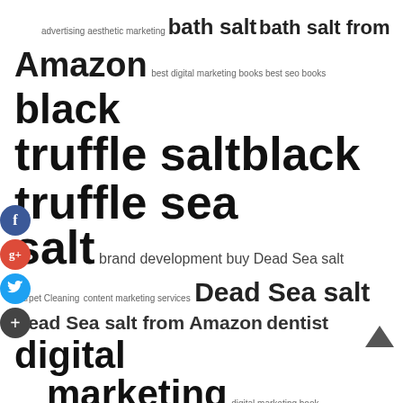[Figure (other): Tag cloud showing various SEO and marketing related keywords in varying font sizes indicating relative importance/frequency. Keywords include: advertising, aesthetic marketing, bath salt, bath salt from Amazon, best digital marketing books, best seo books, black truffle salt, black truffle sea salt, brand development, buy Dead Sea salt, Carpet Cleaning, content marketing services, Dead Sea salt, Dead Sea salt from Amazon, dentist, digital marketing, digital marketing book, ecommerce website design, electrical services, electrician north shore, Himalayan pink salt, Himalayan salt, law, marijuana seeds online, marketing aesthetics, medical spa seo, med spa marketing, moving and storage services, moving packing service, office, Pink Himalayan salt, Pink salt]
[Figure (other): Social media sharing buttons on the left side: Facebook (blue), Google+ (red), Twitter (light blue), Add/share (dark)]